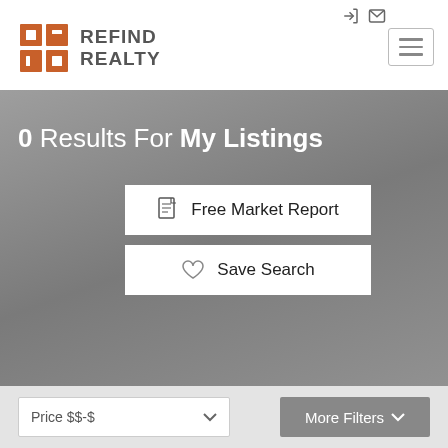[Figure (logo): Refind Realty logo with orange grid icon and gray text]
0 Results For My Listings
[Figure (screenshot): Free Market Report button with document icon]
[Figure (screenshot): Save Search button with heart icon]
[Figure (screenshot): Price $$-$ dropdown filter and More Filters button]